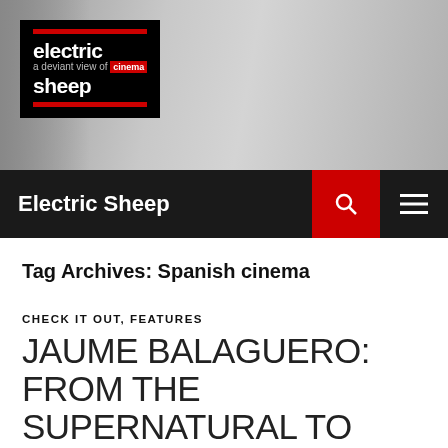[Figure (photo): Grayscale header photo of a person with camera/equipment, with Electric Sheep logo overlay on the left side]
Electric Sheep
Tag Archives: Spanish cinema
CHECK IT OUT, FEATURES
JAUME BALAGUERΟ: FROM THE SUPERNATURAL TO TWISTED REALITY
MARCH 13, 2013   VIRGINIESELAVY